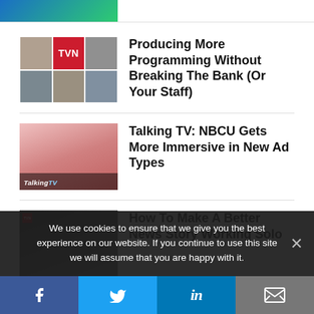[Figure (screenshot): Partial top banner image with blue/green gradient]
[Figure (photo): Grid of 6 headshots with TVN logo center - article thumbnail for Producing More Programming article]
Producing More Programming Without Breaking The Bank (Or Your Staff)
[Figure (photo): Talking TV show thumbnail with people on video call and Talking TV logo]
Talking TV: NBCU Gets More Immersive in New Ad Types
[Figure (photo): Solo news reporter with camera equipment thumbnail with red badge]
How To Make A Better News Story Working Solo
We use cookies to ensure that we give you the best experience on our website. If you continue to use this site we will assume that you are happy with it.
Facebook | Twitter | LinkedIn | Email social sharing bar